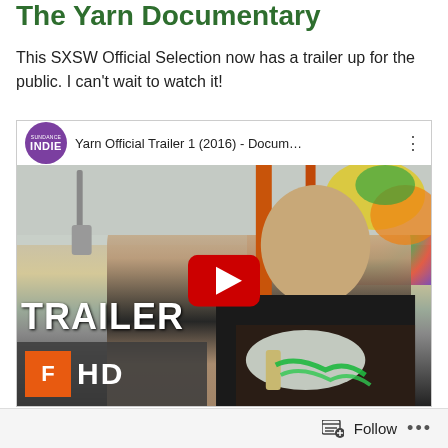The Yarn Documentary
This SXSW Official Selection now has a trailer up for the public. I can't wait to watch it!
[Figure (screenshot): YouTube video embed showing 'Yarn Official Trailer 1 (2016) - Docum...' with INDIE channel badge, a play button overlay, and a woman working with yarn. Bottom overlay shows 'TRAILER' and 'F HD' branding.]
Follow ...